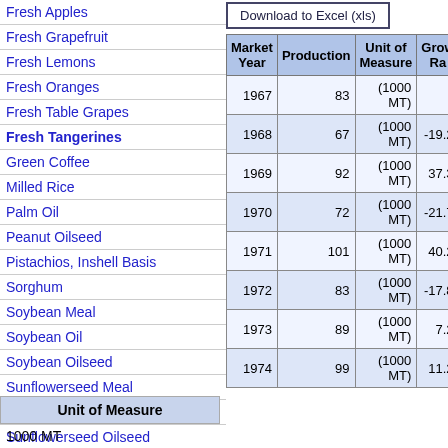Fresh Apples
Fresh Grapefruit
Fresh Lemons
Fresh Oranges
Fresh Table Grapes
Fresh Tangerines
Green Coffee
Milled Rice
Palm Oil
Peanut Oilseed
Pistachios, Inshell Basis
Sorghum
Soybean Meal
Soybean Oil
Soybean Oilseed
Sunflowerseed Meal
Sunflowerseed Oil
Sunflowerseed Oilseed
Wheat
| Unit of Measure |
| --- |
| 1000 MT |
Download to Excel (xls)
| Market Year | Production | Unit of Measure | Growth Rate |
| --- | --- | --- | --- |
| 1967 | 83 | (1000 MT) |  |
| 1968 | 67 | (1000 MT) | -19.2 |
| 1969 | 92 | (1000 MT) | 37.3 |
| 1970 | 72 | (1000 MT) | -21.7 |
| 1971 | 101 | (1000 MT) | 40.2 |
| 1972 | 83 | (1000 MT) | -17.8 |
| 1973 | 89 | (1000 MT) | 7.2 |
| 1974 | 99 | (1000 MT) | 11.2 |